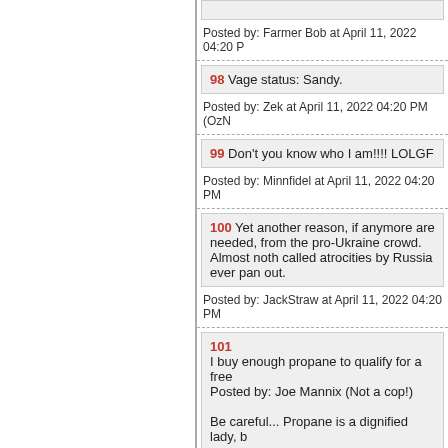Posted by: Farmer Bob at April 11, 2022 04:20 P
98 Vage status: Sandy.
Posted by: Zek at April 11, 2022 04:20 PM (OzN
99 Don't you know who I am!!!! LOLGF
Posted by: Minnfidel at April 11, 2022 04:20 PM
100 Yet another reason, if anymore are needed, from the pro-Ukraine crowd. Almost noth called atrocities by Russia ever pan out.
Posted by: JackStraw at April 11, 2022 04:20 PM
101
I buy enough propane to qualify for a free Posted by: Joe Mannix (Not a cop!)

Be careful... Propane is a dignified lady, b